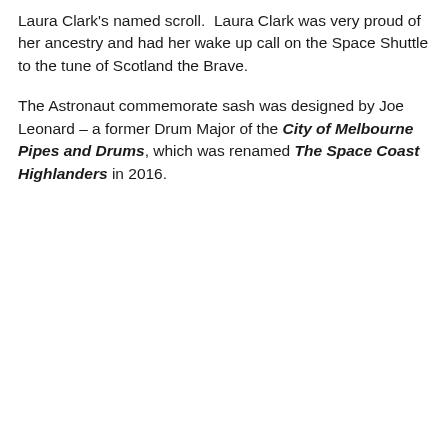Laura Clark's named scroll.  Laura Clark was very proud of her ancestry and had her wake up call on the Space Shuttle to the tune of Scotland the Brave.
The Astronaut commemorate sash was designed by Joe Leonard – a former Drum Major of the City of Melbourne Pipes and Drums, which was renamed The Space Coast Highlanders in 2016.